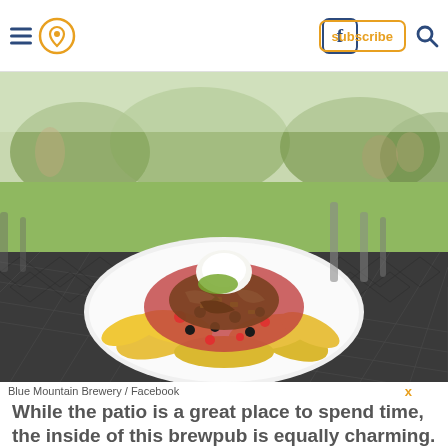Navigation bar with hamburger menu, location icon, Facebook icon, subscribe button, and search icon
[Figure (photo): A plate of loaded nachos with shredded meat, black beans, corn, salsa, guacamole, and sour cream on a white plate, sitting on a metal mesh patio table outdoors with green grass and trees in the background.]
Blue Mountain Brewery / Facebook
While the patio is a great place to spend time, the inside of this brewpub is equally charming. On a cold winter day, what could be better than enjoying a made-in-house pizza and locally brewed...